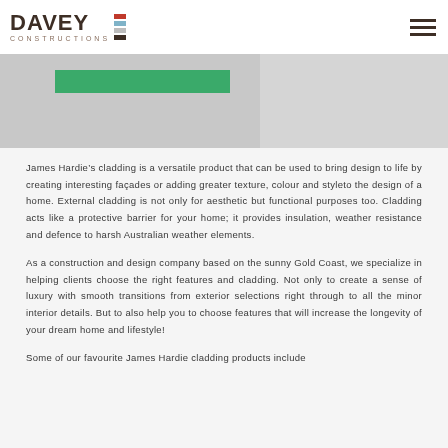DAVEY CONSTRUCTIONS
[Figure (photo): Website header image strip showing a construction/home image on the left with a green call-to-action button, and a grey image on the right]
James Hardie's cladding is a versatile product that can be used to bring design to life by creating interesting façades or adding greater texture, colour and styleto the design of a home. External cladding is not only for aesthetic but functional purposes too. Cladding acts like a protective barrier for your home; it provides insulation, weather resistance and defence to harsh Australian weather elements.
As a construction and design company based on the sunny Gold Coast, we specialize in helping clients choose the right features and cladding. Not only to create a sense of luxury with smooth transitions from exterior selections right through to all the minor interior details. But to also help you to choose features that will increase the longevity of your dream home and lifestyle!
Some of our favourite James Hardie cladding products include